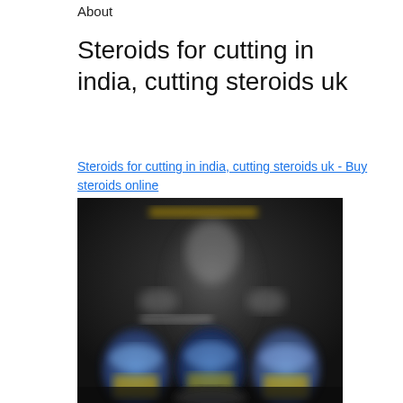About
Steroids for cutting in india, cutting steroids uk
Steroids for cutting in india, cutting steroids uk - Buy steroids online
[Figure (photo): Dark background fitness/bodybuilding product advertisement image showing supplement containers and a muscular figure silhouette]